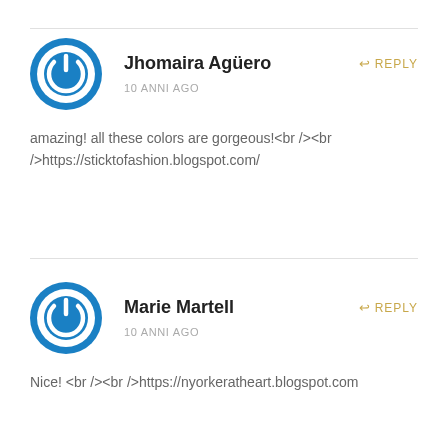Jhomaira Agüero
10 ANNI AGO
REPLY
amazing! all these colors are gorgeous!<br /><br />https://sticktofashion.blogspot.com/
Marie Martell
10 ANNI AGO
REPLY
Nice! <br /><br />https://nyorkeratheart.blogspot.com